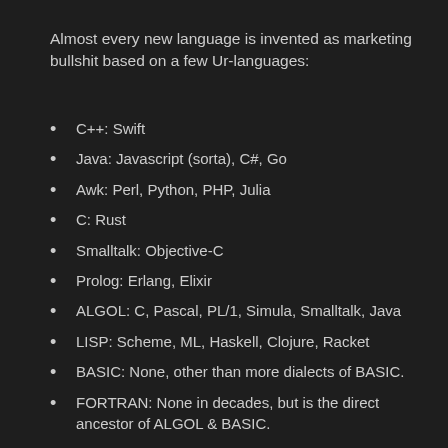Almost every new language is invented as marketing bullshit based on a few Ur-languages:
C++: Swift
Java: Javascript (sorta), C#, Go
Awk: Perl, Python, PHP, Julia
C: Rust
Smalltalk: Objective-C
Prolog: Erlang, Elixir
ALGOL: C, Pascal, PL/1, Simula, Smalltalk, Java
LISP: Scheme, ML, Haskell, Clojure, Racket
BASIC: None, other than more dialects of BASIC.
FORTRAN: None in decades, but is the direct ancestor of ALGOL & BASIC.